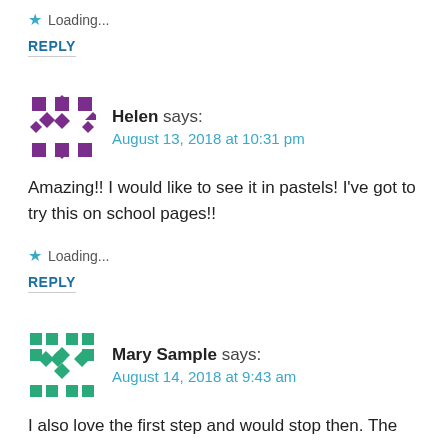★ Loading...
REPLY
Helen says: August 13, 2018 at 10:31 pm
Amazing!! I would like to see it in pastels! I've got to try this on school pages!!
★ Loading...
REPLY
Mary Sample says: August 14, 2018 at 9:43 am
I also love the first step and would stop then. The